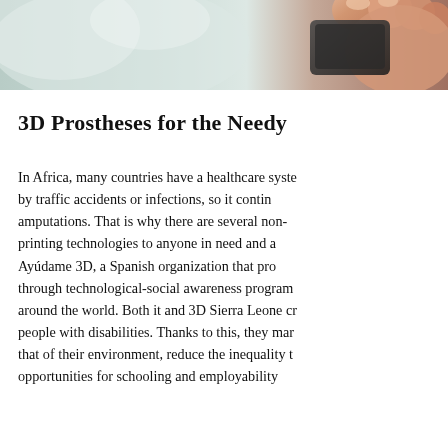[Figure (photo): Close-up photo of a hand holding a dark object, with blurred light background on the left side. The image is cropped at the top of the page as a banner strip.]
3D Prostheses for the Needy
In Africa, many countries have a healthcare syste... by traffic accidents or infections, so it contin... amputations. That is why there are several non- printing technologies to anyone in need and a Ayúdame 3D, a Spanish organization that pro... through technological-social awareness program... around the world. Both it and 3D Sierra Leone cr... people with disabilities. Thanks to this, they mar... that of their environment, reduce the inequality t... opportunities for schooling and employability...